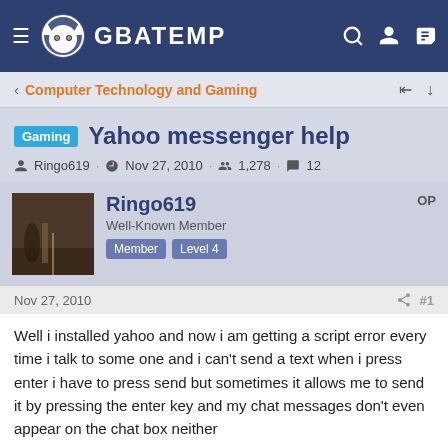GBATEMP
Computer Technology and Gaming
Yahoo messenger help
Ringo619 · Nov 27, 2010 · 1,278 · 12
Ringo619
Well-Known Member
Member Level 4
OP
Nov 27, 2010  #1
Well i installed yahoo and now i am getting a script error every time i talk to some one and i can't send a text when i press enter i have to press send but sometimes it allows me to send it by pressing the enter key and my chat messages don't even appear on the chat box neither